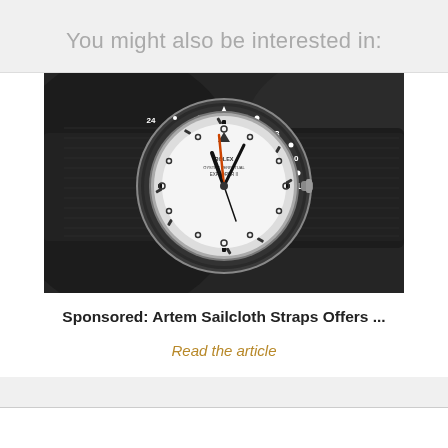You might also be interested in:
[Figure (photo): Close-up photograph of a Rolex Explorer II watch with a white dial on a black sailcloth strap, dark moody background]
Sponsored: Artem Sailcloth Straps Offers ...
Read the article